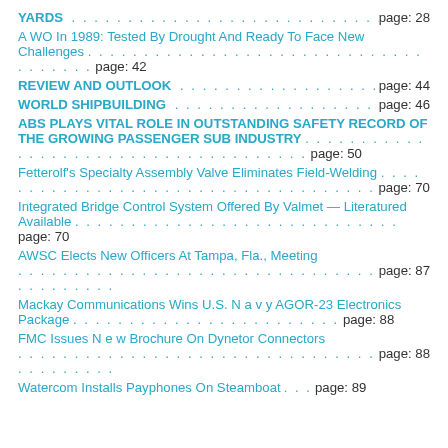YARDS . . . . . . . . . . . . . . . . . . . . . . . . . . . . . . . . . . . . . page: 28
A WO In 1989: Tested By Drought And Ready To Face New Challenges . . . . . . . . . . . . . . . . . . . . . . . . . . . . . . . . . . . . page: 42
REVIEW AND OUTLOOK . . . . . . . . . . . . . . . . . . . . page: 44
WORLD SHIPBUILDING . . . . . . . . . . . . . . . . . . . . page: 46
ABS PLAYS VITAL ROLE IN OUTSTANDING SAFETY RECORD OF THE GROWING PASSENGER SUB INDUSTRY . . . . . . . . . . . . . . . . . . . . . . . . . . . . . . . . . . . . page: 50
Fetterolf's Specialty Assembly Valve Eliminates Field-Welding . . . . . . . . . . . . . . . . . . . . . . . . . . . . . . . . . . . . page: 70
Integrated Bridge Control System Offered By Valmet — Literatured Available . . . . . . . . . . . . . . . . . . . . . . . . . . page: 70
AWSC Elects New Officers At Tampa, Fla., Meeting . . . . . . . . . . . . . . . . . . . . . . . . . . . . . . . . . . . . page: 87
Mackay Communications Wins U.S. N a v y AGOR-23 Electronics Package . . . . . . . . . . . . . . . . . . . . . . . . page: 88
FMC Issues N e w Brochure On Dynetor Connectors . . . . . . . . . . . . . . . . . . . . . . . . . . . . . . . . . . . . page: 88
Watercom Installs Payphones On Steamboat . . . page: 89